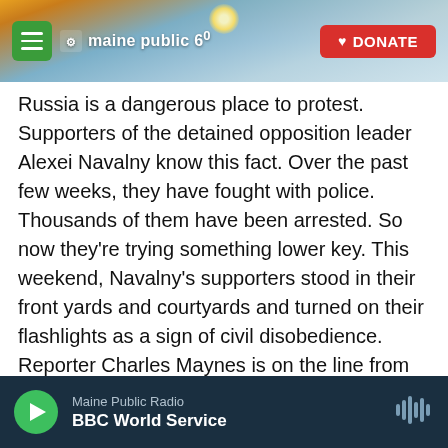maine public 60 | DONATE
Russia is a dangerous place to protest. Supporters of the detained opposition leader Alexei Navalny know this fact. Over the past few weeks, they have fought with police. Thousands of them have been arrested. So now they're trying something lower key. This weekend, Navalny's supporters stood in their front yards and courtyards and turned on their flashlights as a sign of civil disobedience. Reporter Charles Maynes is on the line from Moscow. Hey, Charles.
CHARLES MAYNES, BYLINE: Hey there. Good to be with you.
Maine Public Radio | BBC World Service